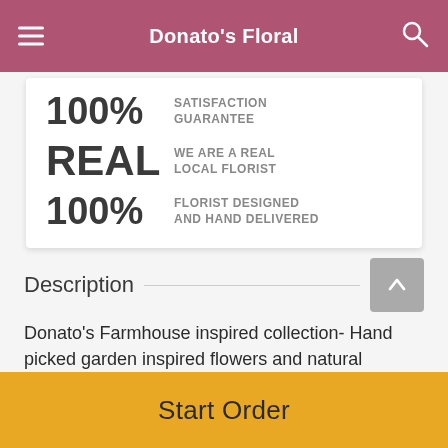Donato's Floral
100% SATISFACTION GUARANTEE
REAL WE ARE A REAL LOCAL FLORIST
100% FLORIST DESIGNED AND HAND DELIVERED
Description
Donato's Farmhouse inspired collection- Hand picked garden inspired flowers and natural elements artfully
Start Order